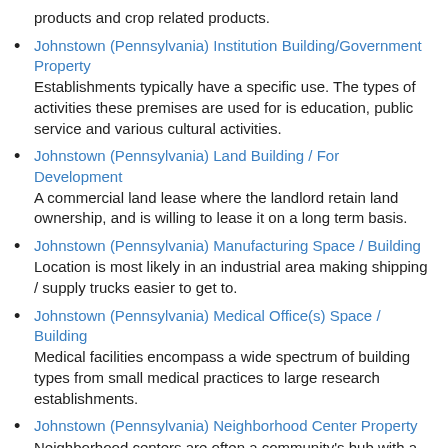products and crop related products.
Johnstown (Pennsylvania) Institution Building/Government Property
Establishments typically have a specific use. The types of activities these premises are used for is education, public service and various cultural activities.
Johnstown (Pennsylvania) Land Building / For Development
A commercial land lease where the landlord retain land ownership, and is willing to lease it on a long term basis.
Johnstown (Pennsylvania) Manufacturing Space / Building
Location is most likely in an industrial area making shipping / supply trucks easier to get to.
Johnstown (Pennsylvania) Medical Office(s) Space / Building
Medical facilities encompass a wide spectrum of building types from small medical practices to large research establishments.
Johnstown (Pennsylvania) Neighborhood Center Property
Neighborhood centers are often a community's hub with a prime location that's centrally located.
Johnstown (Pennsylvania) Office Building Property
Whether it's just the space or the need to lease an entire property, find it here.
Johnstown (Pennsylvania) Office- R&D Space / Building